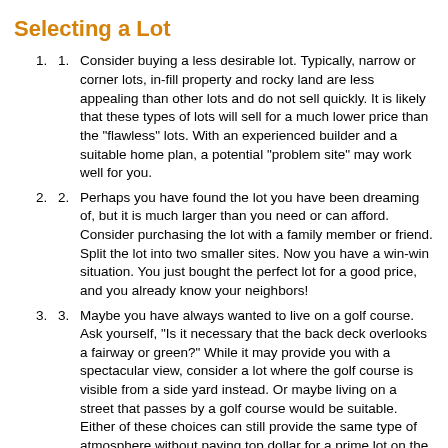Selecting a Lot
Consider buying a less desirable lot. Typically, narrow or corner lots, in-fill property and rocky land are less appealing than other lots and do not sell quickly. It is likely that these types of lots will sell for a much lower price than the "flawless" lots. With an experienced builder and a suitable home plan, a potential "problem site" may work well for you.
Perhaps you have found the lot you have been dreaming of, but it is much larger than you need or can afford. Consider purchasing the lot with a family member or friend. Split the lot into two smaller sites. Now you have a win-win situation. You just bought the perfect lot for a good price, and you already know your neighbors!
Maybe you have always wanted to live on a golf course. Ask yourself, "Is it necessary that the back deck overlooks a fairway or green?" While it may provide you with a spectacular view, consider a lot where the golf course is visible from a side yard instead. Or maybe living on a street that passes by a golf course would be suitable. Either of these choices can still provide the same type of atmosphere without paying top dollar for a prime lot on the golf course.
In a similar manner, you have always dreamed of living on the water, but lakefront or oceanfront property is far too expensive